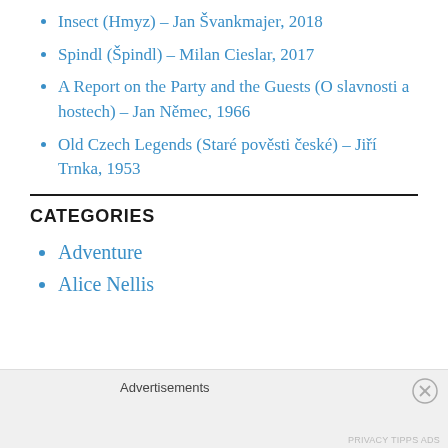Insect (Hmyz) – Jan Švankmajer, 2018
Spindl (Špindl) – Milan Cieslar, 2017
A Report on the Party and the Guests (O slavnosti a hostech) – Jan Němec, 1966
Old Czech Legends (Staré pověsti české) – Jiří Trnka, 1953
CATEGORIES
Adventure
Alice Nellis
Advertisements